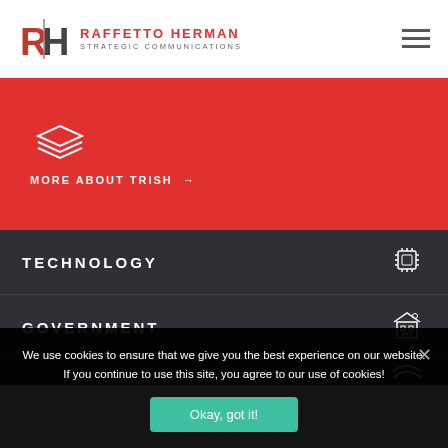Raffetto Herman Strategic Communications
[Figure (illustration): Red section with stacked layers icon and MORE ABOUT TRISH link]
TECHNOLOGY
GOVERNMENT
We use cookies to ensure that we give you the best experience on our website. If you continue to use this site, you agree to our use of cookies!